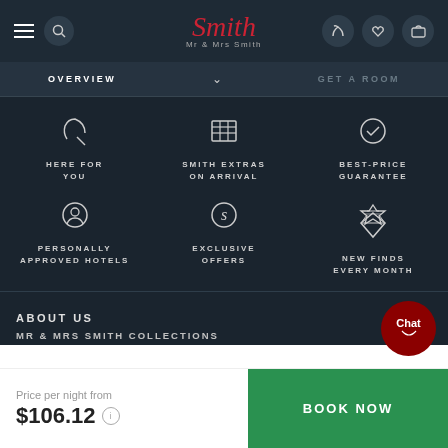Mr & Mrs Smith — Navigation bar with hamburger menu, search, logo, phone, heart, and bag icons
OVERVIEW  ∨  GET A ROOM
HERE FOR YOU
SMITH EXTRAS ON ARRIVAL
BEST-PRICE GUARANTEE
PERSONALLY APPROVED HOTELS
EXCLUSIVE OFFERS
NEW FINDS EVERY MONTH
ABOUT US
MR & MRS SMITH COLLECTIONS
Price per night from
$106.12
BOOK NOW